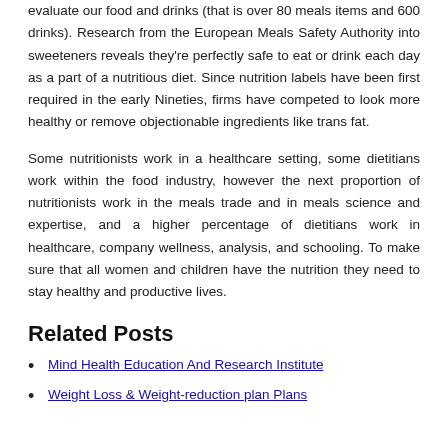evaluate our food and drinks (that is over 80 meals items and 600 drinks). Research from the European Meals Safety Authority into sweeteners reveals they're perfectly safe to eat or drink each day as a part of a nutritious diet. Since nutrition labels have been first required in the early Nineties, firms have competed to look more healthy or remove objectionable ingredients like trans fat.
Some nutritionists work in a healthcare setting, some dietitians work within the food industry, however the next proportion of nutritionists work in the meals trade and in meals science and expertise, and a higher percentage of dietitians work in healthcare, company wellness, analysis, and schooling. To make sure that all women and children have the nutrition they need to stay healthy and productive lives.
Related Posts
Mind Health Education And Research Institute
Weight Loss & Weight-reduction plan Plans